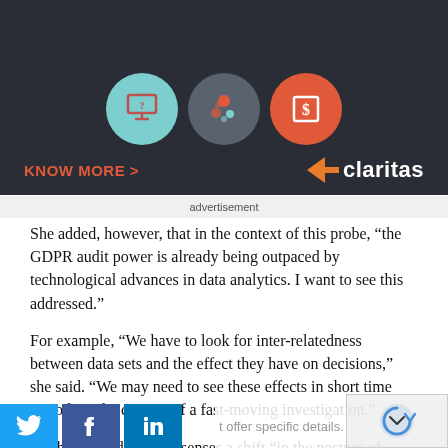[Figure (infographic): Dark-background advertisement banner for Claritas, showing three circular icons with a monitor, dots/spheres, and a dollar sign, along with 'KNOW MORE >' in orange and the Claritas logo with orange arrow mark on the right.]
advertisement
She added, however, that in the context of this probe, “the GDPR audit power is already being outpaced by technological advances in data analytics. I want to see this addressed.”
For example, “We have to look for inter-relatedness between data sets and the effect they have on decisions,” she said. “We may need to see these effects in short time periods in the context of a fast-moving investigation.”
Denham noted that she senses a shift “in the posture of industry with regards to privacy regulation in the US.”